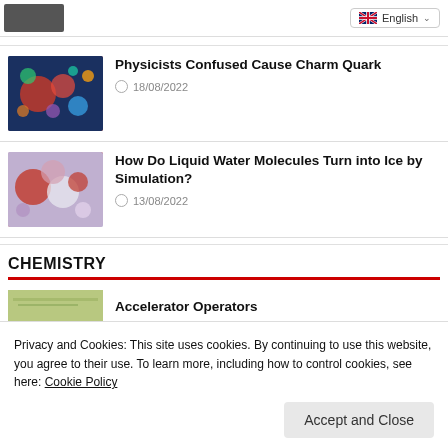[Figure (screenshot): Top thumbnail image (partial, dark tones)]
[Figure (other): English language selector button with flag]
[Figure (photo): Colorful particle/quark illustration - blues and reds]
Physicists Confused Cause Charm Quark
18/08/2022
[Figure (photo): Water molecules simulation - pinks, reds, blues]
How Do Liquid Water Molecules Turn into Ice by Simulation?
13/08/2022
CHEMISTRY
[Figure (photo): Partial chemistry article thumbnail - green/yellow tones]
Accelerator Operators
Privacy and Cookies: This site uses cookies. By continuing to use this website, you agree to their use. To learn more, including how to control cookies, see here: Cookie Policy